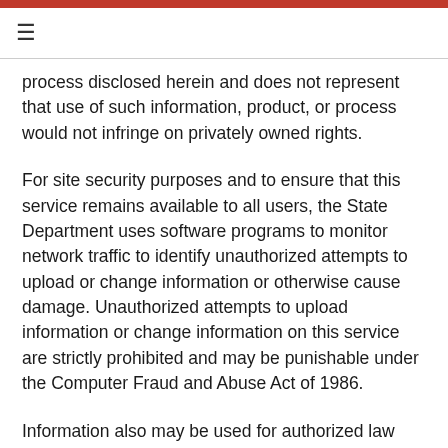≡
process disclosed herein and does not represent that use of such information, product, or process would not infringe on privately owned rights.
For site security purposes and to ensure that this service remains available to all users, the State Department uses software programs to monitor network traffic to identify unauthorized attempts to upload or change information or otherwise cause damage. Unauthorized attempts to upload information or change information on this service are strictly prohibited and may be punishable under the Computer Fraud and Abuse Act of 1986.
Information also may be used for authorized law enforcement investigations. Except for the above purposes,